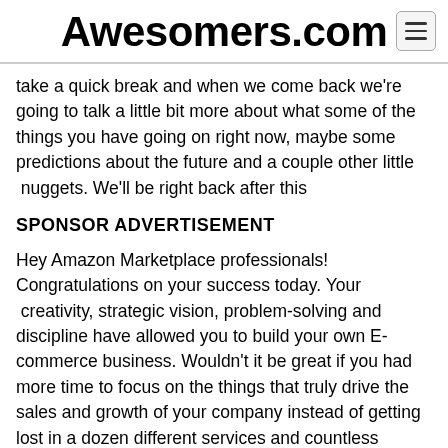Awesomers.com
take a quick break and when we come back we're going to talk a little bit more about what some of the things you have going on right now, maybe some predictions about the future and a couple other little  nuggets. We'll be right back after this
SPONSOR ADVERTISEMENT
Hey Amazon Marketplace professionals! Congratulations on your success today. Your  creativity, strategic vision, problem-solving and discipline have allowed you to build your own E-commerce business. Wouldn't it be great if you had more time to focus on the things that truly drive the sales and growth of your company instead of getting lost in a dozen different services and countless